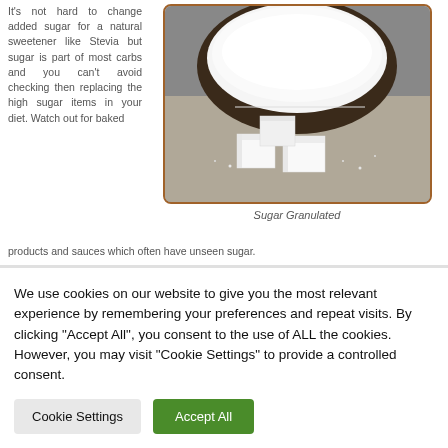It's not hard to change added sugar for a natural sweetener like Stevia but sugar is part of most carbs and you can't avoid checking then replacing the high sugar items in your diet. Watch out for baked products and sauces which often have unseen sugar.
[Figure (photo): A bowl of granulated white sugar with sugar cubes in front of it, on a dark background.]
Sugar Granulated
We use cookies on our website to give you the most relevant experience by remembering your preferences and repeat visits. By clicking "Accept All", you consent to the use of ALL the cookies. However, you may visit "Cookie Settings" to provide a controlled consent.